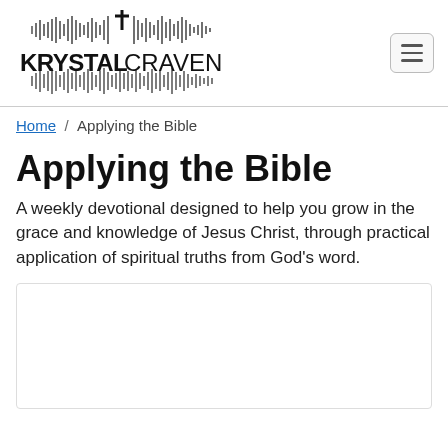[Figure (logo): Krystal Craven logo with audio waveform and cross graphic, text reading KRYSTAL CRAVEN]
Home / Applying the Bible
Applying the Bible
A weekly devotional designed to help you grow in the grace and knowledge of Jesus Christ, through practical application of spiritual truths from God's word.